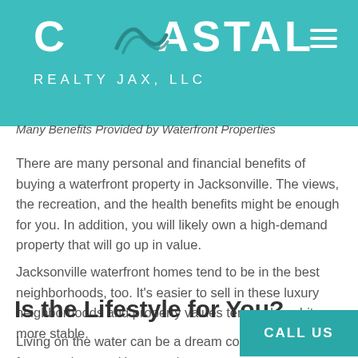[Figure (logo): Coastal Realty Jax, LLC logo on teal/turquoise background with hamburger menu icon]
Many Benefits Provided by Waterfront Properties
There are many personal and financial benefits of buying a waterfront property in Jacksonville. The views, the recreation, and the health benefits might be enough for you. In addition, you will likely own a high-demand property that will go up in value.
Jacksonville waterfront homes tend to be in the best neighborhoods, too. It’s easier to sell in these luxury neighborhoods and property values tend to be a bit more stable.
Is the Lifestyle for You?
Living on the water can be a dream come true for many buyers. However, it may or may no... Make sure you really want this type of lifestyle...